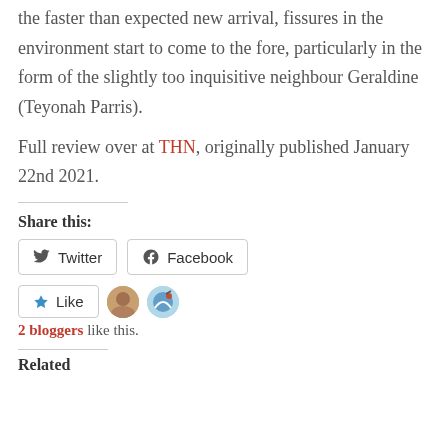the faster than expected new arrival, fissures in the environment start to come to the fore, particularly in the form of the slightly too inquisitive neighbour Geraldine (Teyonah Parris).
Full review over at THN, originally published January 22nd 2021.
Share this:
Twitter  Facebook
Like  2 bloggers like this.
Related